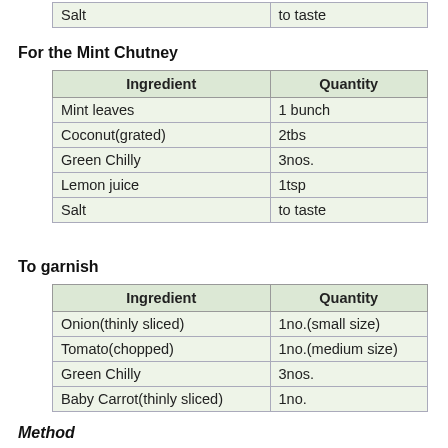| Salt | to taste |
For the Mint Chutney
| Ingredient | Quantity |
| --- | --- |
| Mint leaves | 1 bunch |
| Coconut(grated) | 2tbs |
| Green Chilly | 3nos. |
| Lemon juice | 1tsp |
| Salt | to taste |
To garnish
| Ingredient | Quantity |
| --- | --- |
| Onion(thinly sliced) | 1no.(small size) |
| Tomato(chopped) | 1no.(medium size) |
| Green Chilly | 3nos. |
| Baby Carrot(thinly sliced) | 1no. |
Method